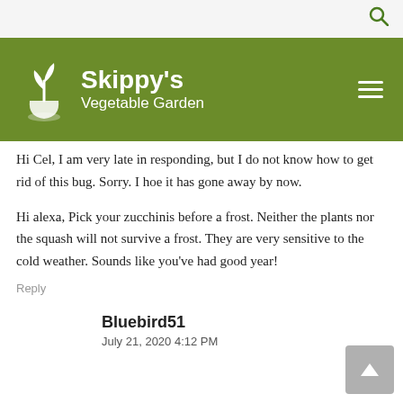[Figure (logo): Skippy's Vegetable Garden logo with white plant icon on green background header bar]
Hi Cel, I am very late in responding, but I do not know how to get rid of this bug. Sorry. I hoe it has gone away by now.
Hi alexa, Pick your zucchinis before a frost. Neither the plants nor the squash will not survive a frost. They are very sensitive to the cold weather. Sounds like you’ve had good year!
Reply
Bluebird51
July 21, 2020 4:12 PM